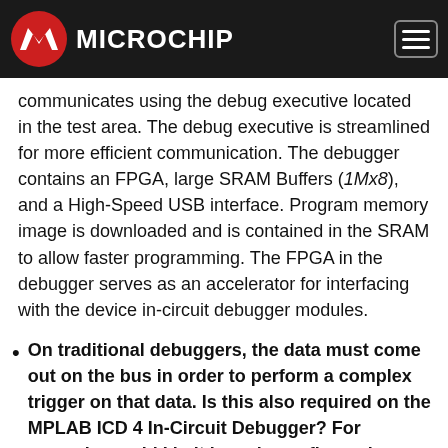Microchip
communicates using the debug executive located in the test area. The debug executive is streamlined for more efficient communication. The debugger contains an FPGA, large SRAM Buffers (1Mx8), and a High-Speed USB interface. Program memory image is downloaded and is contained in the SRAM to allow faster programming. The FPGA in the debugger serves as an accelerator for interfacing with the device in-circuit debugger modules.
On traditional debuggers, the data must come out on the bus in order to perform a complex trigger on that data. Is this also required on the MPLAB ICD 4 In-Circuit Debugger? For example, could I halt based on a flag going high?